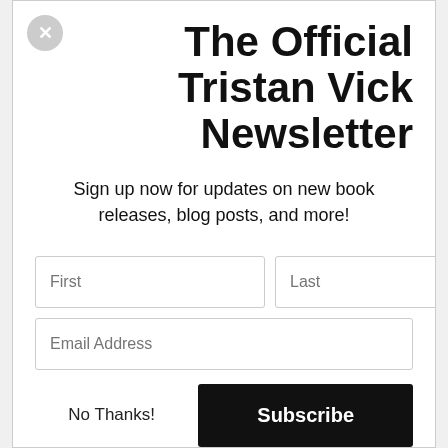The Official Tristan Vick Newsletter
Sign up now for updates on new book releases, blog posts, and more!
[Figure (other): Newsletter signup form with First, Last, and Email Address input fields, a 'No Thanks!' link, and a black 'Subscribe' button]